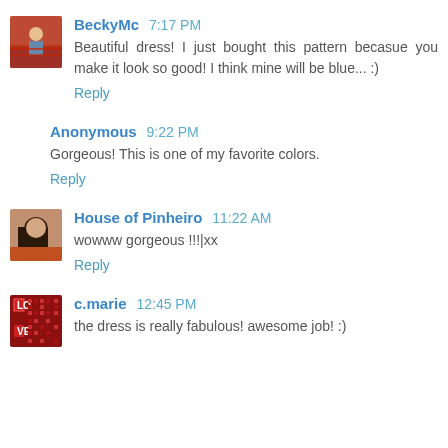BeckyMc 7:17 PM
Beautiful dress! I just bought this pattern becasue you make it look so good! I think mine will be blue... :)
Reply
Anonymous 9:22 PM
Gorgeous! This is one of my favorite colors.
Reply
House of Pinheiro 11:22 AM
wowww gorgeous !!!|xx
Reply
c.marie 12:45 PM
the dress is really fabulous! awesome job! :)